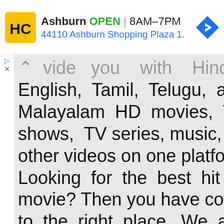[Figure (screenshot): Advertisement banner for HC (Hardware store) in Ashburn showing OPEN status, hours 8AM-7PM, and address 44110 Ashburn Shopping Plaza 1, with navigation arrow icon]
provide you with Hindi, English, Tamil, Telugu, and Malayalam HD movies, TV shows, TV series, music, and other videos on one platform. Looking for the best hit movie? Then you have come to the right place. We are providing you with the best quality movies in a very short period of time. You can also download the latest movie in